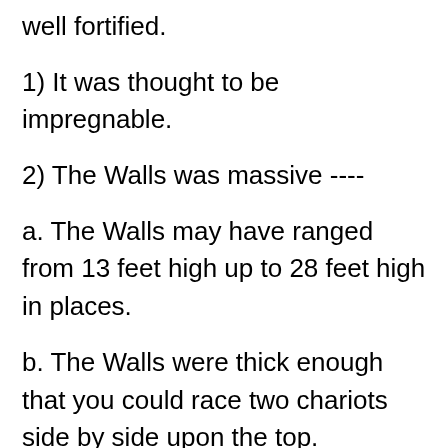well fortified.
1) It was thought to be impregnable.
2) The Walls was massive ----
a. The Walls may have ranged from 13 feet high up to 28 feet high in places.
b. The Walls were thick enough that you could race two chariots side by side upon the top.
c. So the walls of Jericho could have